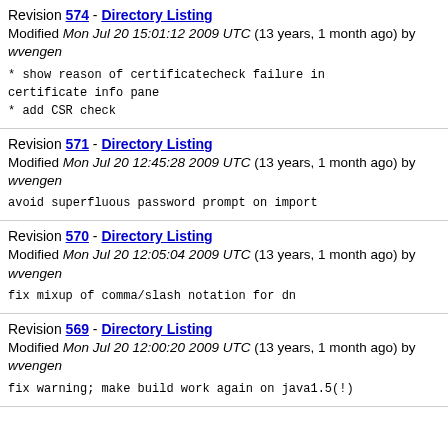Revision 574 - Directory Listing
Modified Mon Jul 20 15:01:12 2009 UTC (13 years, 1 month ago) by wvengen
* show reason of certificatecheck failure in certificate info pane
* add CSR check
Revision 571 - Directory Listing
Modified Mon Jul 20 12:45:28 2009 UTC (13 years, 1 month ago) by wvengen
avoid superfluous password prompt on import
Revision 570 - Directory Listing
Modified Mon Jul 20 12:05:04 2009 UTC (13 years, 1 month ago) by wvengen
fix mixup of comma/slash notation for dn
Revision 569 - Directory Listing
Modified Mon Jul 20 12:00:20 2009 UTC (13 years, 1 month ago) by wvengen
fix warning; make build work again on java1.5(!)